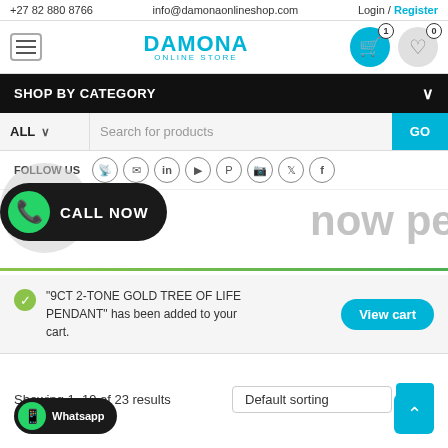+27 82 880 8766   info@damonaonlinestore.com   Login / Register
[Figure (logo): Damona Online Store logo with hamburger menu, cart icon (badge 1), and heart icon (badge 0)]
SHOP BY CATEGORY
ALL  Search for products  GO
FOLLOW US
[Figure (infographic): CALL NOW button with WhatsApp icon overlay]
now pendant
"9CT 2-TONE GOLD TREE OF LIFE PENDANT" has been added to your cart.
View cart
Showing 1–19 of 23 results
Default sorting
[Figure (infographic): WhatsApp button at bottom left]
Scroll to top arrow button